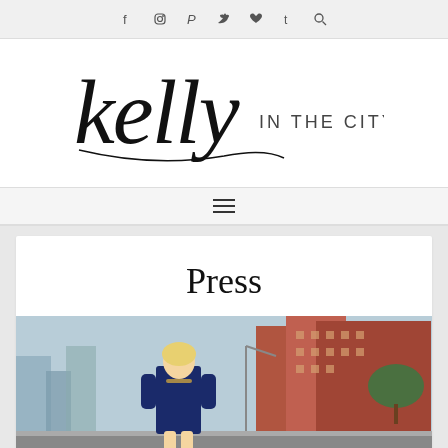Social icons: Facebook, Instagram, Pinterest, Twitter, Heart, Tumblr, Search
[Figure (logo): Kelly in the City blog logo — cursive script 'kelly' in large black handwritten font followed by 'IN THE CITY' in small serif capitals]
[Figure (other): Navigation hamburger menu icon (three horizontal lines)]
Press
[Figure (photo): Photo of a blonde woman in a navy and gold dress standing on a city street with brick apartment buildings and trees in the background]